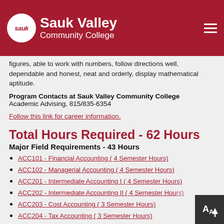Sauk Valley Community College
figures, able to work with numbers, follow directions well, dependable and honest, neat and orderly, display mathematical aptitude.
Program Contacts at Sauk Valley Community College
Academic Advising, 815/835-6354
Follow this link for career information.
Total Hours Required - 62 Hours
Major Field Requirements - 43 Hours
ACC101 - Financial Accounting ( 4 Semester Hours)
ACC102 - Managerial Accounting ( 4 Semester Hours)
ACC201 - Intermediate Accounting I ( 4 Semester Hours)
ACC202 - Intermediate Accounting II ( 4 Semester Hours)
ACC203 - Cost Accounting ( 3 Semester Hours)
ACC204 - Tax Accounting ( 3 Semester Hours)